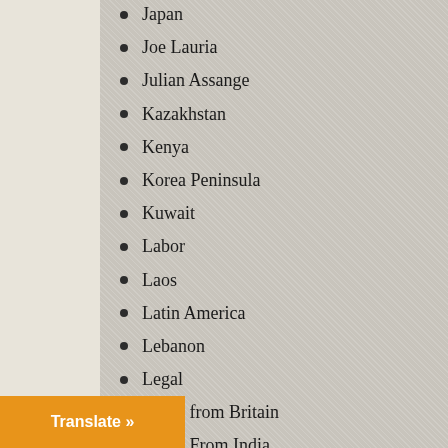Japan
Joe Lauria
Julian Assange
Kazakhstan
Kenya
Korea Peninsula
Kuwait
Labor
Laos
Latin America
Lebanon
Legal
Letter from Britain
Letter From India
Letter from London
Liberia
Libya
Lobbying
...ort History...